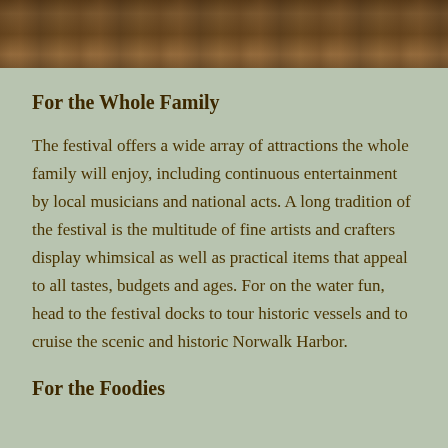[Figure (photo): Partial view of people at what appears to be an outdoor festival or gathering, cropped at the top of the page]
For the Whole Family
The festival offers a wide array of attractions the whole family will enjoy, including continuous entertainment by local musicians and national acts. A long tradition of the festival is the multitude of fine artists and crafters display whimsical as well as practical items that appeal to all tastes, budgets and ages. For on the water fun, head to the festival docks to tour historic vessels and to cruise the scenic and historic Norwalk Harbor.
For the Foodies